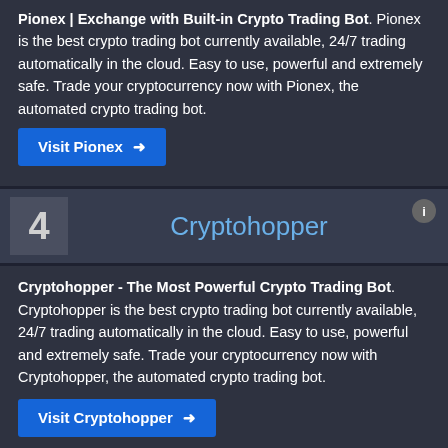Pionex | Exchange with Built-in Crypto Trading Bot. Pionex is the best crypto trading bot currently available, 24/7 trading automatically in the cloud. Easy to use, powerful and extremely safe. Trade your cryptocurrency now with Pionex, the automated crypto trading bot.
Visit Pionex →
4   Cryptohopper
Cryptohopper - The Most Powerful Crypto Trading Bot. Cryptohopper is the best crypto trading bot currently available, 24/7 trading automatically in the cloud. Easy to use, powerful and extremely safe. Trade your cryptocurrency now with Cryptohopper, the automated crypto trading bot.
Visit Cryptohopper →
5   Coinrule